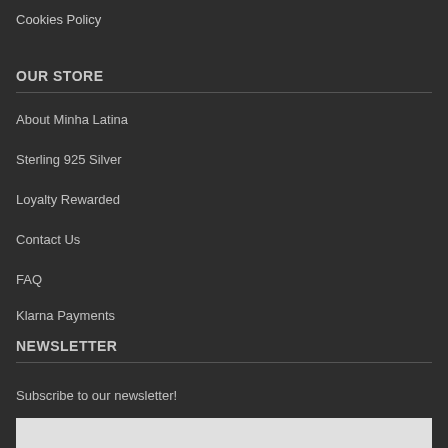Cookies Policy
OUR STORE
About Minha Latina
Sterling 925 Silver
Loyalty Rewarded
Contact Us
FAQ
Klarna Payments
NEWSLETTER
Subscribe to our newsletter!